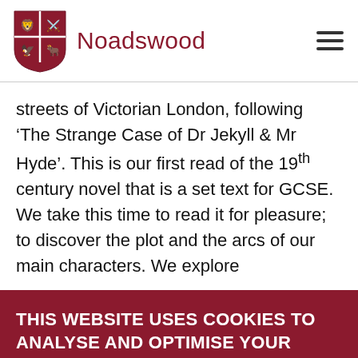Noadswood
streets of Victorian London, following ‘The Strange Case of Dr Jekyll & Mr Hyde’. This is our first read of the 19th century novel that is a set text for GCSE. We take this time to read it for pleasure; to discover the plot and the arcs of our main characters. We explore
THIS WEBSITE USES COOKIES TO ANALYSE AND OPTIMISE YOUR EXPERIENCE ON OUR WEBSITE.
ACCEPT ALL COOKIES
REJECT ALL COOKIES